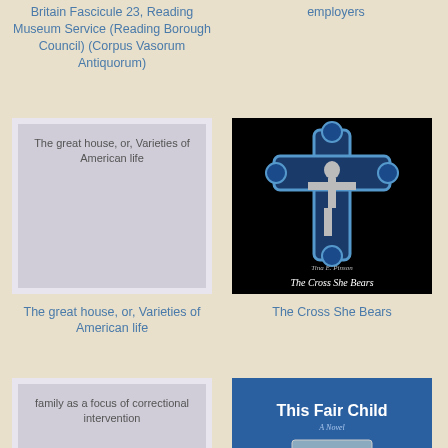Britain Fascicule 23, Reading Museum Service (Reading Borough Council) (Corpus Vasorum Antiquorum)
employers
[Figure (illustration): Placeholder book cover for 'The great house, or, Varieties of American life' - gray background with text]
[Figure (illustration): Book cover for 'The Cross She Bears' by Tina E. Pinson - black background with ornate blue-trimmed crucifix]
The great house, or, Varieties of American life
The Cross She Bears
[Figure (illustration): Placeholder book cover for 'family as a focus of correctional intervention' - gray background with text]
[Figure (illustration): Book cover for 'This Fair Child - A Novel' - blue background with title text]